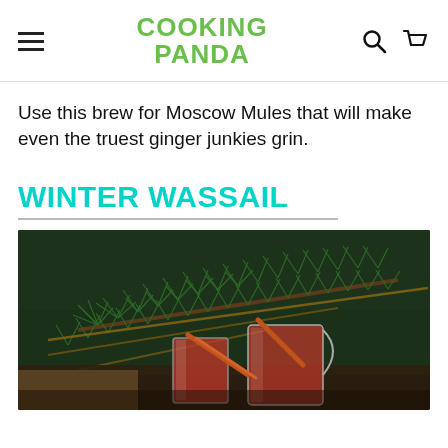COOKING PANDA
Use this brew for Moscow Mules that will make even the truest ginger junkies grin.
WINTER WASSAIL
[Figure (photo): Photo of winter wassail drink: glasses with an orange-red hot drink and cinnamon sticks, surrounded by fresh green pine branches on a dark wooden background.]